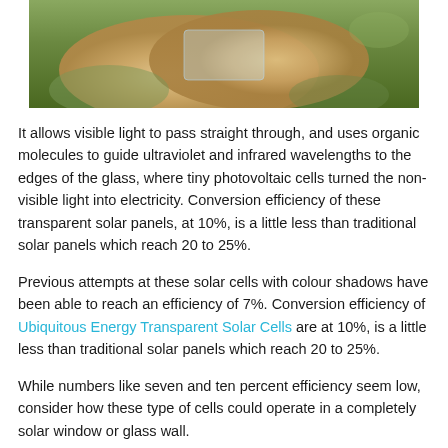[Figure (photo): Close-up photo of hands holding a small transparent solar cell, with green foliage visible in the background.]
It allows visible light to pass straight through, and uses organic molecules to guide ultraviolet and infrared wavelengths to the edges of the glass, where tiny photovoltaic cells turned the non-visible light into electricity. Conversion efficiency of these transparent solar panels, at 10%, is a little less than traditional solar panels which reach 20 to 25%.
Previous attempts at these solar cells with colour shadows have been able to reach an efficiency of 7%. Conversion efficiency of Ubiquitous Energy Transparent Solar Cells are at 10%, is a little less than traditional solar panels which reach 20 to 25%.
While numbers like seven and ten percent efficiency seem low, consider how these type of cells could operate in a completely solar window or glass wall.